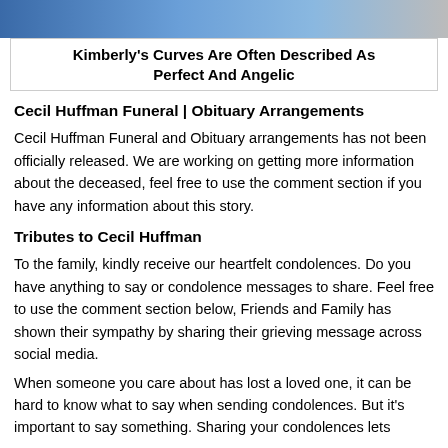[Figure (photo): Partial photo of a person wearing a blue outfit, cropped at the top of the page.]
Kimberly's Curves Are Often Described As Perfect And Angelic
Cecil Huffman Funeral | Obituary Arrangements
Cecil Huffman Funeral and Obituary arrangements has not been officially released. We are working on getting more information about the deceased, feel free to use the comment section if you have any information about this story.
Tributes to Cecil Huffman
To the family, kindly receive our heartfelt condolences. Do you have anything to say or condolence messages to share. Feel free to use the comment section below, Friends and Family has shown their sympathy by sharing their grieving message across social media.
When someone you care about has lost a loved one, it can be hard to know what to say when sending condolences. But it's important to say something. Sharing your condolences lets